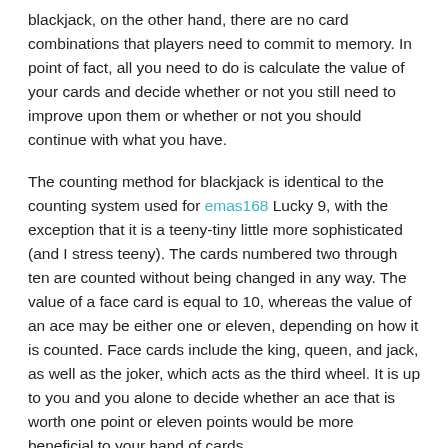blackjack, on the other hand, there are no card combinations that players need to commit to memory. In point of fact, all you need to do is calculate the value of your cards and decide whether or not you still need to improve upon them or whether or not you should continue with what you have.
The counting method for blackjack is identical to the counting system used for emas168 Lucky 9, with the exception that it is a teeny-tiny little more sophisticated (and I stress teeny). The cards numbered two through ten are counted without being changed in any way. The value of a face card is equal to 10, whereas the value of an ace may be either one or eleven, depending on how it is counted. Face cards include the king, queen, and jack, as well as the joker, which acts as the third wheel. It is up to you and you alone to decide whether an ace that is worth one point or eleven points would be more beneficial to your hand of cards.
Who Comes Out on Top and Who Doesn't?
When playing poker, players who consider their cards are not as powerful as those of their opponents or are not on par with